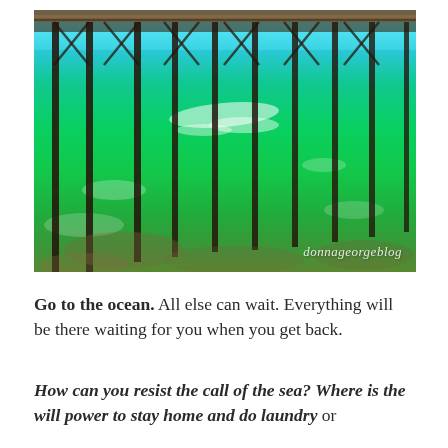[Figure (photo): A vibrant photograph taken from underneath a wooden pier at the ocean. The water is a striking turquoise and bright green color. Wooden pier pilings extend into the water. Waves and white foam are visible. A watermark reading 'donnageorgeblog' appears in the lower right corner.]
Go to the ocean. All else can wait. Everything will be there waiting for you when you get back.
How can you resist the call of the sea? Where is the will power to stay home and do laundry or